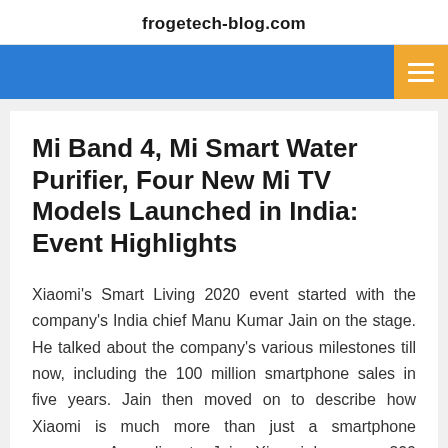frogetech-blog.com
Mi Band 4, Mi Smart Water Purifier, Four New Mi TV Models Launched in India: Event Highlights
Xiaomi's Smart Living 2020 event started with the company's India chief Manu Kumar Jain on the stage. He talked about the company's various milestones till now, including the 100 million smartphone sales in five years. Jain then moved on to describe how Xiaomi is much more than just a smartphone company. According to Jain, Xiaomi has over 200 ecosystem companies, in which it has a